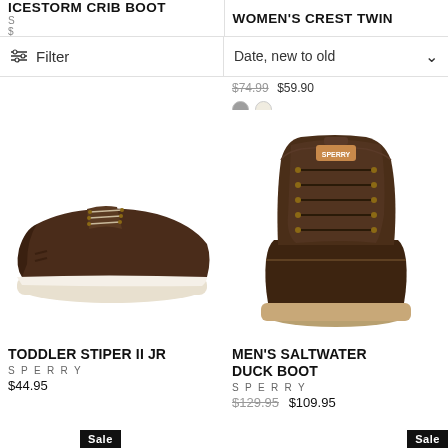ICESTORM CRIB BOOT
WOMEN'S CREST TWIN
Filter
Date, new to old
$74.95  $59.90
[Figure (photo): Brown sneaker shoe - Toddler Stiper II Jr by Sperry]
[Figure (photo): Brown leather duck boot - Men's Saltwater Duck Boot by Sperry, with Sale badge]
Sale
TODDLER STIPER II JR
SPERRY
$44.95
MEN'S SALTWATER DUCK BOOT
SPERRY
$129.95  $109.95
Sale
Sale